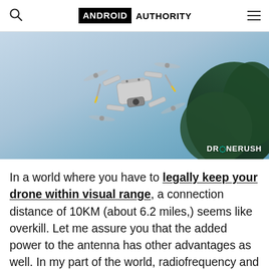ANDROID AUTHORITY
[Figure (photo): A DJI mini drone photographed from below against a light blue sky with dark green trees in the background. Watermark reads DRONERUSH in the bottom right corner.]
In a world where you have to legally keep your drone within visual range, a connection distance of 10KM (about 6.2 miles,) seems like overkill. Let me assure you that the added power to the antenna has other advantages as well. In my part of the world, radiofrequency and magnetic interference are common. It can be unsafe to fly in some rela...